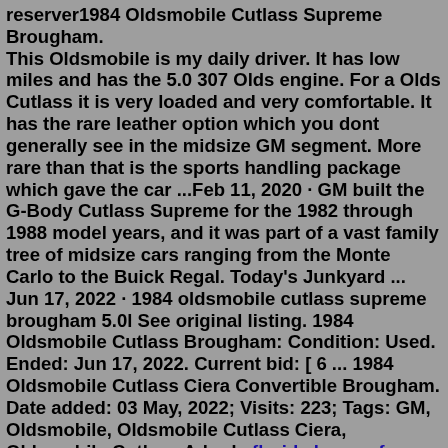reserver1984 Oldsmobile Cutlass Supreme Brougham. This Oldsmobile is my daily driver. It has low miles and has the 5.0 307 Olds engine. For a Olds Cutlass it is very loaded and very comfortable. It has the rare leather option which you dont generally see in the midsize GM segment. More rare than that is the sports handling package which gave the car ...Feb 11, 2020 · GM built the G-Body Cutlass Supreme for the 1982 through 1988 model years, and it was part of a vast family tree of midsize cars ranging from the Monte Carlo to the Buick Regal. Today's Junkyard ... Jun 17, 2022 · 1984 oldsmobile cutlass supreme brougham 5.0l See original listing. 1984 Oldsmobile Cutlass Brougham: Condition: Used. Ended: Jun 17, 2022. Current bid: [ 6 ... 1984 Oldsmobile Cutlass Ciera Convertible Brougham. Date added: 03 May, 2022; Visits: 223; Tags: GM, Oldsmobile, Oldsmobile Cutlass Ciera, Oldsmobile Cutlass A-body florida homes for sale with 2 master suitesxa